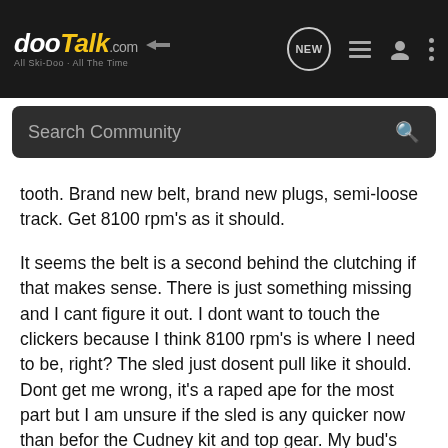dooTalk.com — All Ski-Doo · All The Time
Search Community
tooth. Brand new belt, brand new plugs, semi-loose track. Get 8100 rpm's as it should.
It seems the belt is a second behind the clutching if that makes sense. There is just something missing and I cant figure it out. I dont want to touch the clickers because I think 8100 rpm's is where I need to be, right? The sled just dosent pull like it should. Dont get me wrong, it's a raped ape for the most part but I am unsure if the sled is any quicker now than befor the Cudney kit and top gear. My bud's stock 600ho is still right next to me ...
Back to the belt/clutch - I just feels like the belt is easing into the secondary instead of banging in. Where would you look first??